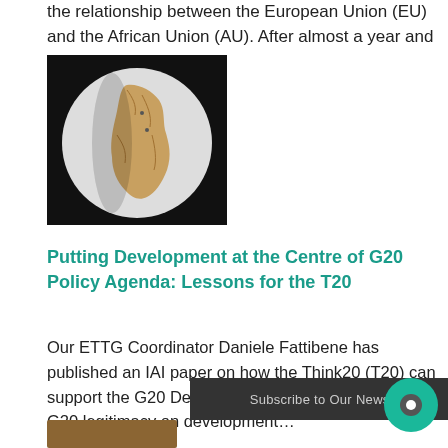the relationship between the European Union (EU) and the African Union (AU). After almost a year and ...
[Figure (photo): A globe showing Africa and surrounding regions, against a dark background]
Putting Development at the Centre of G20 Policy Agenda: Lessons for the T20
Our ETTG Coordinator Daniele Fattibene has published an IAI paper on how the Think20 (T20) can support the G20 De...Working Group to boost the G20 legitimacy on development...
Subscribe to Our Newsletter